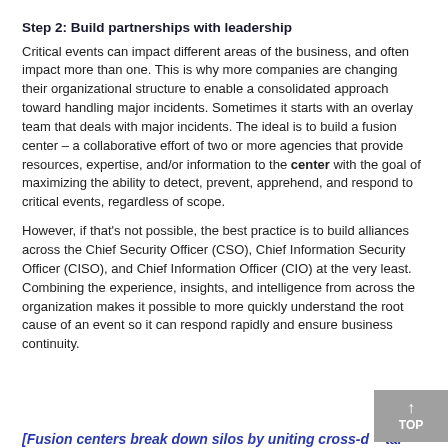Step 2: Build partnerships with leadership
Critical events can impact different areas of the business, and often impact more than one. This is why more companies are changing their organizational structure to enable a consolidated approach toward handling major incidents. Sometimes it starts with an overlay team that deals with major incidents. The ideal is to build a fusion center – a collaborative effort of two or more agencies that provide resources, expertise, and/or information to the center with the goal of maximizing the ability to detect, prevent, apprehend, and respond to critical events, regardless of scope.
However, if that's not possible, the best practice is to build alliances across the Chief Security Officer (CSO), Chief Information Security Officer (CISO), and Chief Information Officer (CIO) at the very least. Combining the experience, insights, and intelligence from across the organization makes it possible to more quickly understand the root cause of an event so it can respond rapidly and ensure business continuity.
[Fusion centers break down silos by uniting cross-d…tal